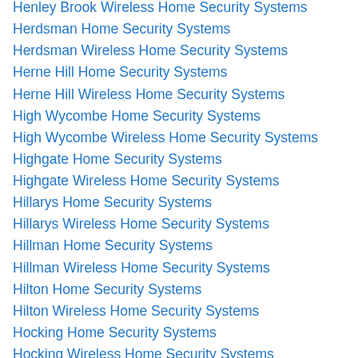Henley Brook Wireless Home Security Systems
Herdsman Home Security Systems
Herdsman Wireless Home Security Systems
Herne Hill Home Security Systems
Herne Hill Wireless Home Security Systems
High Wycombe Home Security Systems
High Wycombe Wireless Home Security Systems
Highgate Home Security Systems
Highgate Wireless Home Security Systems
Hillarys Home Security Systems
Hillarys Wireless Home Security Systems
Hillman Home Security Systems
Hillman Wireless Home Security Systems
Hilton Home Security Systems
Hilton Wireless Home Security Systems
Hocking Home Security Systems
Hocking Wireless Home Security Systems
Hope Valley Home Security Systems
Hope Valley Wireless Home Security Systems